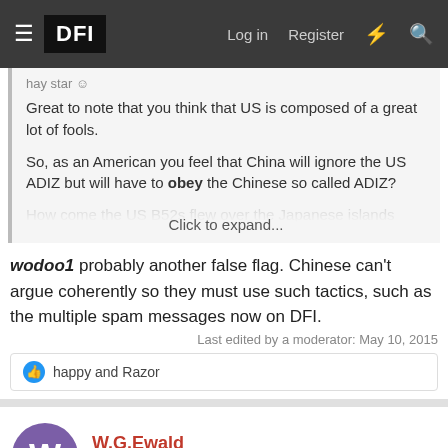DFI — Log in | Register
Great to note that you think that US is composed of a great lot of fools.

So, as an American you feel that China will ignore the US ADIZ but will have to obey the Chinese so called ADIZ?

How come the US B52s flew over the Japanese islands claimed by China and which are a part of the Chinese so called ADIZ...
Click to expand...
wodoo1 probably another false flag. Chinese can't argue coherently so they must use such tactics, such as the multiple spam messages now on DFI.
Last edited by a moderator: May 10, 2015
happy and Razor
W.G.Ewald
Defence Professionals/ DFI member of 2   Professional